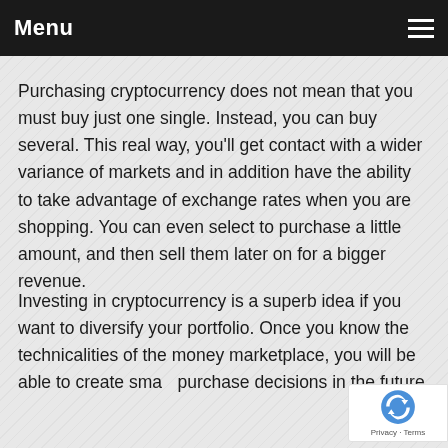Menu
Purchasing cryptocurrency does not mean that you must buy just one single. Instead, you can buy several. This real way, you'll get contact with a wider variance of markets and in addition have the ability to take advantage of exchange rates when you are shopping. You can even select to purchase a little amount, and then sell them later on for a bigger revenue.
Investing in cryptocurrency is a superb idea if you want to diversify your portfolio. Once you know the technicalities of the money marketplace, you will be able to create smart purchase decisions in the future.